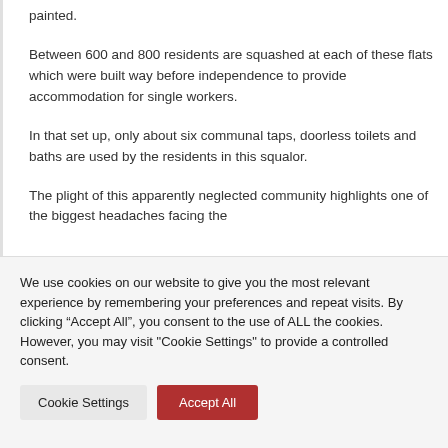painted.
Between 600 and 800 residents are squashed at each of these flats which were built way before independence to provide accommodation for single workers.
In that set up, only about six communal taps, doorless toilets and baths are used by the residents in this squalor.
The plight of this apparently neglected community highlights one of the biggest headaches facing the
We use cookies on our website to give you the most relevant experience by remembering your preferences and repeat visits. By clicking “Accept All”, you consent to the use of ALL the cookies. However, you may visit "Cookie Settings" to provide a controlled consent.
Cookie Settings
Accept All